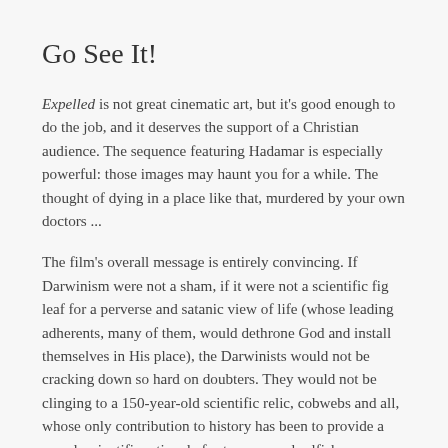Go See It!
Expelled is not great cinematic art, but it's good enough to do the job, and it deserves the support of a Christian audience. The sequence featuring Hadamar is especially powerful: those images may haunt you for a while. The thought of dying in a place like that, murdered by your own doctors ...
The film's overall message is entirely convincing. If Darwinism were not a sham, if it were not a scientific fig leaf for a perverse and satanic view of life (whose leading adherents, many of them, would dethrone God and install themselves in His place), the Darwinists would not be cracking down so hard on doubters. They would not be clinging to a 150-year-old scientific relic, cobwebs and all, whose only contribution to history has been to provide a pseudoscientific rationale for tyranny and selfishness.
If Darwin had never existed, Nazis and communists would